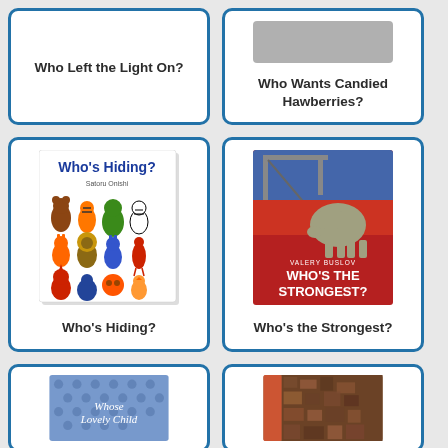Who Left the Light On?
Who Wants Candied Hawberries?
[Figure (illustration): Book cover of 'Who's Hiding?' by Satoru Onishi showing colorful cartoon animals arranged in a grid]
Who's Hiding?
[Figure (photo): Book cover of 'Who's the Strongest?' by Valery Buslov showing a red cover with a crane and an elephant illustration]
Who's the Strongest?
[Figure (photo): Partial book cover showing 'Whose Lovely Child' with a blue spotted background]
[Figure (photo): Partial book cover showing a brown/fur textured cover]